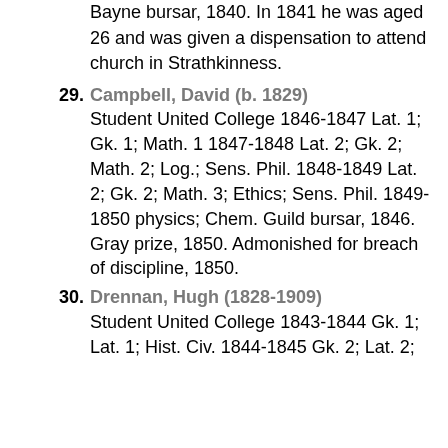Bayne bursar, 1840. In 1841 he was aged 26 and was given a dispensation to attend church in Strathkinness.
29. Campbell, David (b. 1829) Student United College 1846-1847 Lat. 1; Gk. 1; Math. 1 1847-1848 Lat. 2; Gk. 2; Math. 2; Log.; Sens. Phil. 1848-1849 Lat. 2; Gk. 2; Math. 3; Ethics; Sens. Phil. 1849-1850 physics; Chem. Guild bursar, 1846. Gray prize, 1850. Admonished for breach of discipline, 1850.
30. Drennan, Hugh (1828-1909) Student United College 1843-1844 Gk. 1; Lat. 1; Hist. Civ. 1844-1845 Gk. 2; Lat. 2;